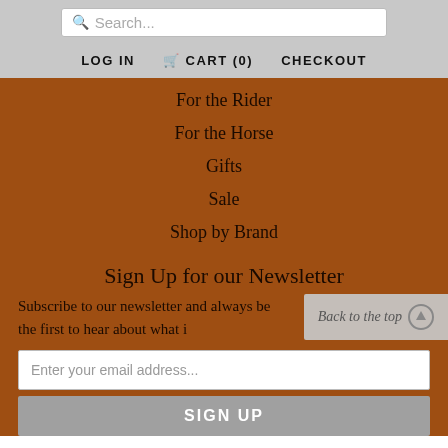Search...
LOG IN   CART (0)   CHECKOUT
For the Rider
For the Horse
Gifts
Sale
Shop by Brand
Sign Up for our Newsletter
Subscribe to our newsletter and always be the first to hear about what i
Enter your email address...
SIGN UP
Back to the top